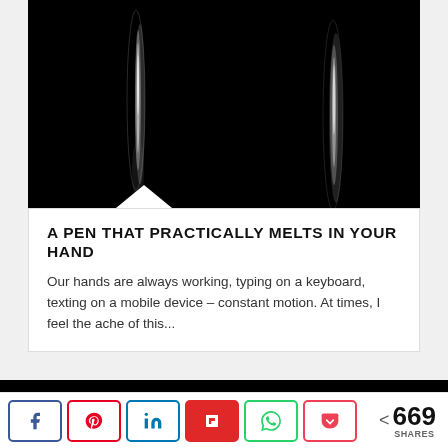[Figure (photo): Dark/black background with two vertical blurred light streaks — artistic photo of a pen]
A PEN THAT PRACTICALLY MELTS IN YOUR HAND
Our hands are always working, typing on a keyboard, texting on a mobile device – constant motion. At times, I feel the ache of this...
[Figure (photo): Dark/black horizontal banner image, partial view]
< 669 SHARES (social share bar with Facebook, Pinterest, LinkedIn, Flipboard, WhatsApp, Pocket buttons)